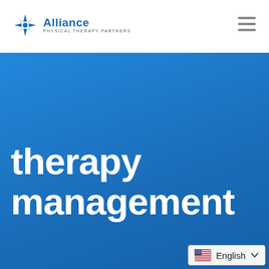[Figure (logo): Alliance Physical Therapy Partners logo with blue star/compass icon and company name]
[Figure (other): Hamburger menu icon (three horizontal lines) in gray]
therapy management
[Figure (other): Language selector widget showing US flag and 'English' with dropdown chevron]